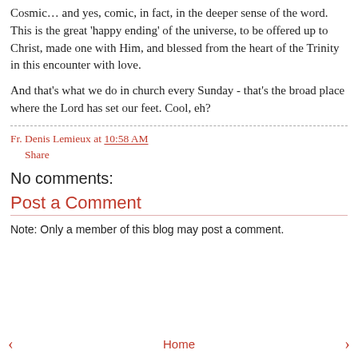Cosmic… and yes, comic, in fact, in the deeper sense of the word. This is the great 'happy ending' of the universe, to be offered up to Christ, made one with Him, and blessed from the heart of the Trinity in this encounter with love.
And that's what we do in church every Sunday - that's the broad place where the Lord has set our feet. Cool, eh?
Fr. Denis Lemieux at 10:58 AM
Share
No comments:
Post a Comment
Note: Only a member of this blog may post a comment.
‹  Home  ›